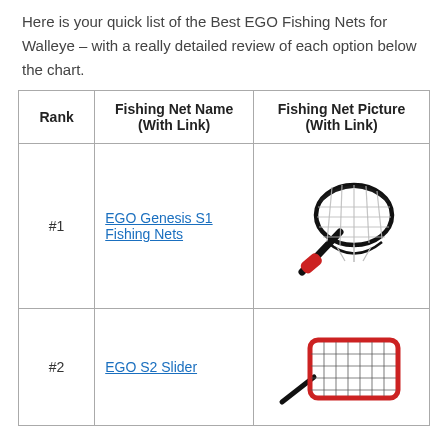Here is your quick list of the Best EGO Fishing Nets for Walleye – with a really detailed review of each option below the chart.
| Rank | Fishing Net Name (With Link) | Fishing Net Picture (With Link) |
| --- | --- | --- |
| #1 | EGO Genesis S1 Fishing Nets | [image of fishing net] |
| #2 | EGO S2 Slider | [image of fishing net] |